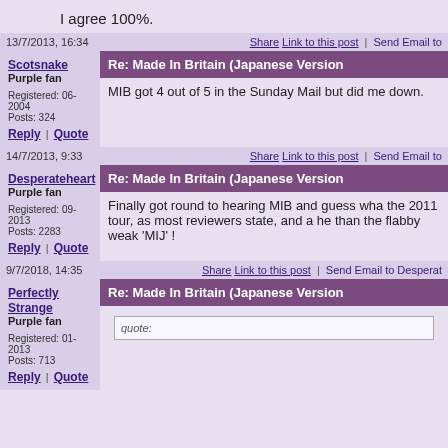I agree 100%.
13/7/2013, 16:34  Share  Link to this post  |  Send Email to
Scotsnake
Purple fan
Registered: 06-2004
Posts: 324
Reply | Quote
Re: Made In Britain (Japanese Version
MIB got 4 out of 5 in the Sunday Mail but did me down.
14/7/2013, 9:33  Share  Link to this post  |  Send Email to
Desperateheart
Purple fan
Registered: 09-2013
Posts: 2283
Reply | Quote
Re: Made In Britain (Japanese Version
Finally got round to hearing MIB and guess wha the 2011 tour, as most reviewers state, and a he than the flabby weak 'MIJ' !
9/7/2018, 14:35  Share  Link to this post  |  Send Email to Desperat
Perfectly Strange
Purple fan
Registered: 01-2013
Posts: 713
Reply | Quote
Re: Made In Britain (Japanese Version
quote: